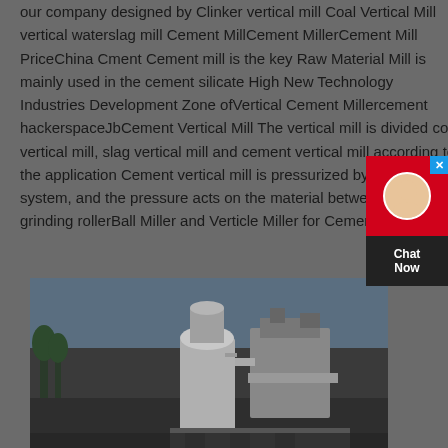our company designed by Clinker vertical mill Coal Vertical Mill vertical waterslag mill Cement MillCement MillerCement Mill PriceChina Cment Cement mill is the key Raw Material Mill is mainly used in the cement silicate High New Technology Industries Development Zone ofVertical Cement Millercement hackerspaceJbCement Vertical Mill The vertical mill is divided coal vertical mill, slag vertical mill and cement vertical mill according to the application Cement vertical mill is pressurized by hydraulic system, and the pressure acts on the material between the grinding rollerBall Miller and Verticle Miller for Cement Grinding
[Figure (photo): Outdoor photograph of industrial cement milling machinery and equipment, showing large vertical mill components and structures against a sky background with trees visible.]